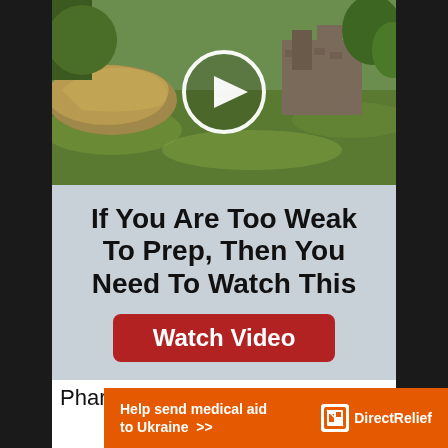[Figure (photo): Outdoor scene with green grass lawn and stone/brick structure in background, overlaid with a circular play button icon indicating a video thumbnail]
[Figure (infographic): Advertisement banner with light blue-gray background. Bold black text reads 'If You Are Too Weak To Prep, Then You Need To Watch This' above a dark red rounded button labeled 'Watch Video']
Pharmacists
[Figure (infographic): Orange banner advertisement: 'Help send medical aid to Ukraine >>' with Direct Relief logo on right side]